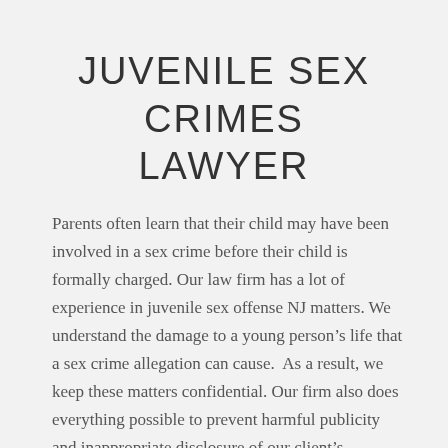JUVENILE SEX CRIMES LAWYER
Parents often learn that their child may have been involved in a sex crime before their child is formally charged. Our law firm has a lot of experience in juvenile sex offense NJ matters. We understand the damage to a young person’s life that a sex crime allegation can cause.  As a result, we keep these matters confidential. Our firm also does everything possible to prevent harmful publicity and inappropriate disclosure of our client’s information.